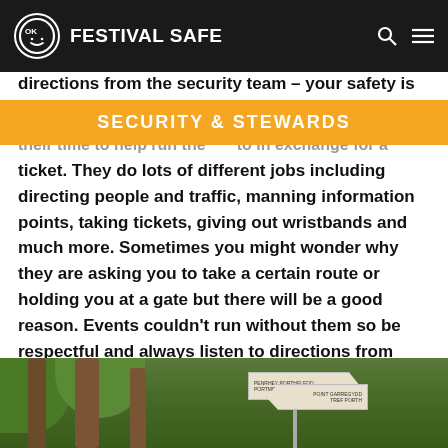FESTIVAL SAFE
SECURITY & STEWARDS
their time to help run the [festival] in exchange for a ticket. They do lots of different jobs including directing people and traffic, manning information points, taking tickets, giving out wristbands and much more. Sometimes you might wonder why they are asking you to take a certain route or holding you at a gate but there will be a good reason. Events couldn't run without them so be respectful and always listen to directions from stewards.
[Figure (photo): Photo of a wooded area with directional signposts, showing signs for Penrhyn Portmeirion, Portmeirion Village, Pont Garregydd, and Tref Porth. Trees visible in the background.]